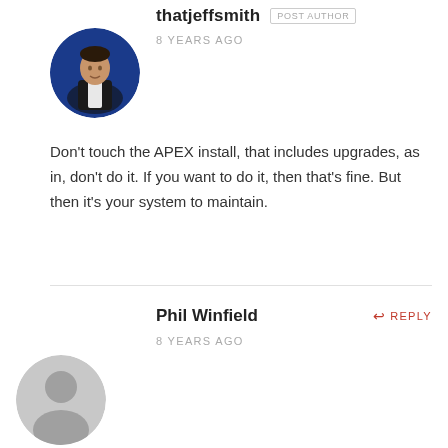thatjeffsmith POST AUTHOR
8 YEARS AGO
[Figure (photo): Circular avatar photo of thatjeffsmith, man in dark jacket against blue background]
Don't touch the APEX install, that includes upgrades, as in, don't do it. If you want to do it, then that's fine. But then it's your system to maintain.
Phil Winfield
REPLY
8 YEARS AGO
[Figure (illustration): Circular gray default avatar silhouette for Phil Winfield]